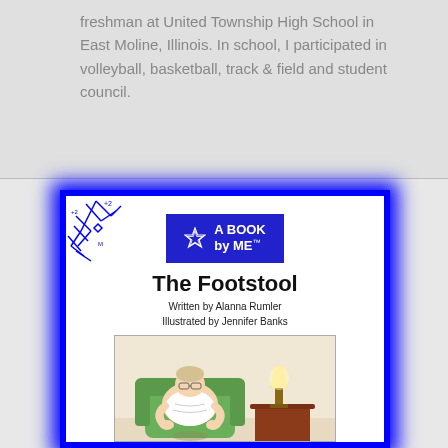freshman at United Township High School in East Moline, Illinois. In school, I participated in volleyball, basketball, track & field and student council.
[Figure (illustration): Book cover for 'The Footstool' — A Book by Me series. Blue border with white glow effect, decorative blue doodles in top-left corner, blue badge logo with Star of David reading 'A BOOK by ME', title 'The Footstool', authors Written by Alanna Rumler and Illustrated by Jennifer Banks, and an illustration of a heavyset person sitting in a green armchair with a lamp on a side table.]